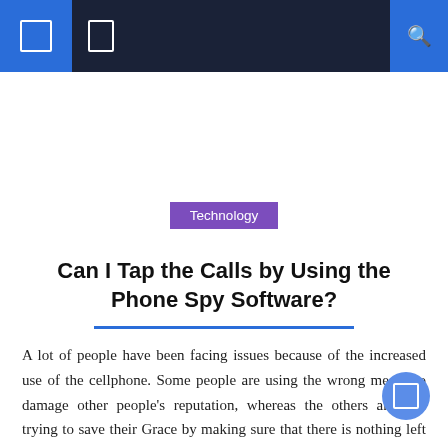Navigation bar with icons and search
Technology
Can I Tap the Calls by Using the Phone Spy Software?
A lot of people have been facing issues because of the increased use of the cellphone. Some people are using the wrong means to damage other people's reputation, whereas the others are still trying to save their Grace by making sure that there is nothing left to damage their reputation. With